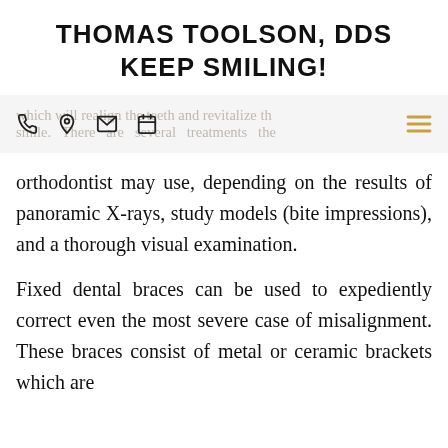THOMAS TOOLSON, DDS
KEEP SMILING!
[Figure (screenshot): Navigation bar with phone, location, email, and calendar icons overlaid with faded text reading 'which will realign the teeth and revitalize the smile. There are several treatments the' and a gold hamburger menu icon on the right]
orthodontist may use, depending on the results of panoramic X-rays, study models (bite impressions), and a thorough visual examination.
Fixed dental braces can be used to expediently correct even the most severe case of misalignment. These braces consist of metal or ceramic brackets which are